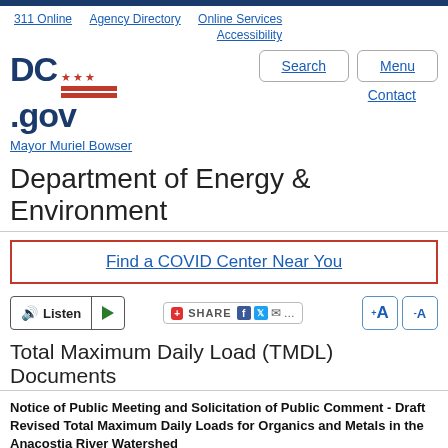311 Online | Agency Directory | Online Services | Accessibility
[Figure (logo): DC.gov logo with DC flag (three red stars, two red bars)]
Search | Menu | Contact
Mayor Muriel Bowser
Department of Energy & Environment
Find a COVID Center Near You
Listen | Play | SHARE
Total Maximum Daily Load (TMDL) Documents
Notice of Public Meeting and Solicitation of Public Comment - Draft Revised Total Maximum Daily Loads for Organics and Metals in the Anacostia River Watershed